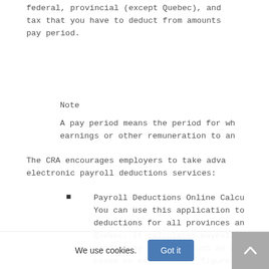federal, provincial (except Quebec), and tax that you have to deduct from amounts pay period.
Note
A pay period means the period for wh earnings or other remuneration to an
The CRA encourages employers to take adva electronic payroll deductions services:
Payroll Deductions Online Calcu You can use this application to deductions for all provinces an Quebec. It calculates payroll d common pay periods (such as wee based on exact salary figures. PDOC at canada.ca/pdoc.
We use cookies.
Got it